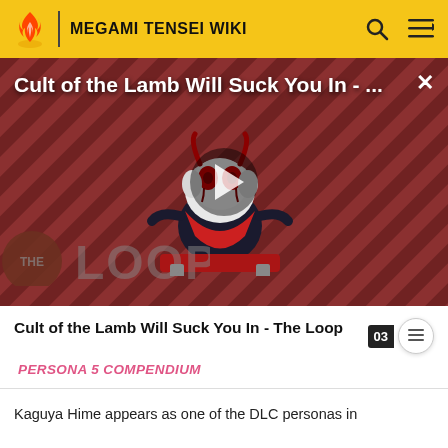MEGAMI TENSEI WIKI
[Figure (screenshot): Video thumbnail for 'Cult of the Lamb Will Suck You In - The Loop' showing a cartoon lamb character on a striped red/dark background with a play button overlay and The Loop badge]
Cult of the Lamb Will Suck You In - The Loop
PERSONA 5 COMPENDIUM
Kaguya Hime appears as one of the DLC personas in